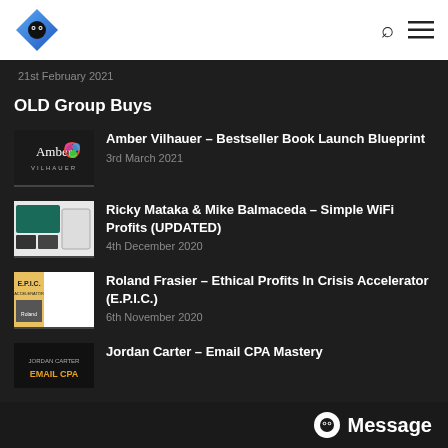Logo + search + menu icons
21st February 2021
OLD Group Buys
Amber Vilhauer – Bestseller Book Launch Blueprint
3rd March 2021
Ricky Mataka & Mike Balmaceda – Simple WiFi Profits (UPDATED)
4th December 2020
Roland Frasier – Ethical Profits In Crisis Accelerator (E.P.I.C.)
6th November 2020
Jordan Carter – Email CPA Mastery